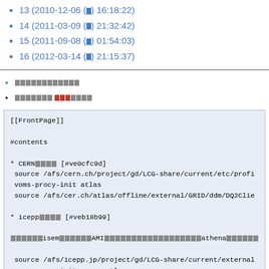13 (2010-12-06 (□) 16:18:22)
14 (2011-03-09 (□) 21:32:42)
15 (2011-09-08 (□) 01:54:03)
16 (2012-03-14 (□) 21:15:37)
[Japanese link 1]
[Japanese link 2]
[[FrontPage]]
#contents
* CERN□□□□ [#ve0cfc9d]
 source /afs/cern.ch/project/gd/LCG-share/current/etc/profi
 voms-procy-init atlas
 source /afs/cer.ch/atlas/offline/external/GRID/ddm/DQ2Clie

* icepp□□□□ [#veb18b99]

□□□□□□isem□□□□□□AMI□□□□□□□□□□□□□□□□□□□□athena□□□□□□

 source /afs/icepp.jp/project/gd/LCG-share/current/external
 voms-proxy-init -voms atlas
 source /afs/icepp.jp/atlasj/offline/external/DQ2Clients/se
 source /afs/icepp.jp/atlasjp/offline/external/DQ2Clients/s
 export DQ2_LOCAL_SITE_ID=ROAMING
 dq2-list-datasets-container mc08.107020.singlepart_e_Et7-8
 dq2-ls -t TOKYO_LCG2_MSDISK mc08.107020.singlepart_e_Et7-8